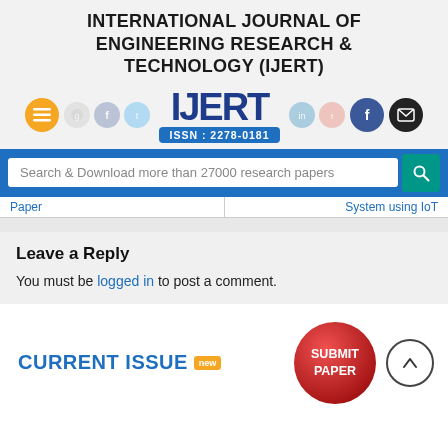INTERNATIONAL JOURNAL OF ENGINEERING RESEARCH & TECHNOLOGY (IJERT)
[Figure (logo): IJERT logo with ISSN: 2278-0181, surrounded by social media icon buttons and a hamburger menu button]
Search & Download more than 27000 research papers
Paper   |   System using IoT
Leave a Reply
You must be logged in to post a comment.
CURRENT ISSUE  new
[Figure (illustration): Red circular Submit Paper button and an up-arrow circle navigation button]